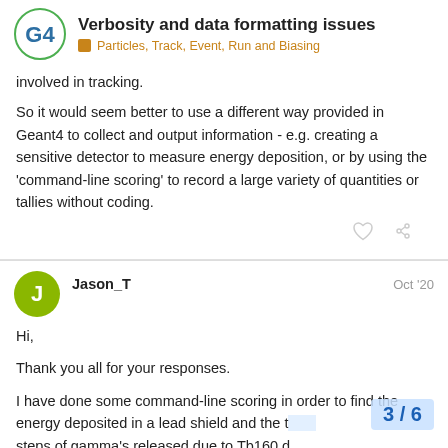Verbosity and data formatting issues — Particles, Track, Event, Run and Biasing
involved in tracking.
So it would seem better to use a different way provided in Geant4 to collect and output information - e.g. creating a sensitive detector to measure energy deposition, or by using the 'command-line scoring' to record a large variety of quantities or tallies without coding.
Jason_T    Oct '20
Hi,
Thank you all for your responses.
I have done some command-line scoring in order to find the energy deposited in a lead shield and the t steps of gamma's released due to Tb160 d